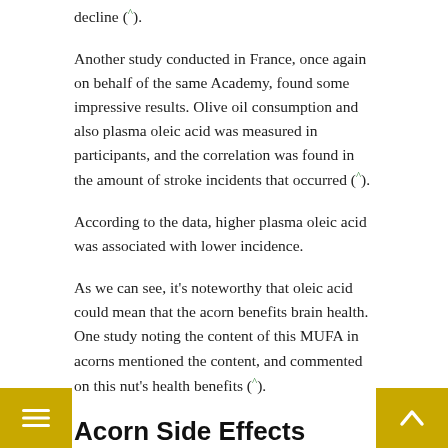decline (^).
Another study conducted in France, once again on behalf of the same Academy, found some impressive results. Olive oil consumption and also plasma oleic acid was measured in participants, and the correlation was found in the amount of stroke incidents that occurred (^).
According to the data, higher plasma oleic acid was associated with lower incidence.
As we can see, it's noteworthy that oleic acid could mean that the acorn benefits brain health. One study noting the content of this MUFA in acorns mentioned the content, and commented on this nut's health benefits (^).
Acorn Side Effects
Above we have listed some of the Acorn benefits for health. As with any food, though, especially a new one, there are potential adverse effects or reactions worth knowing of.